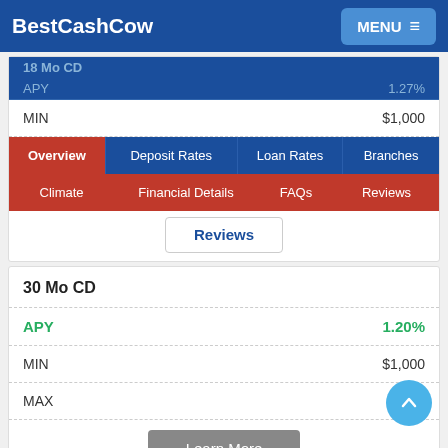BestCashCow  MENU
18 Mo CD  APY  1.27%
MIN  $1,000
Overview  Deposit Rates  Loan Rates  Branches
Climate  Financial Details  FAQs  Reviews
Reviews
30 Mo CD
APY  1.20%
MIN  $1,000
MAX  -
Learn More